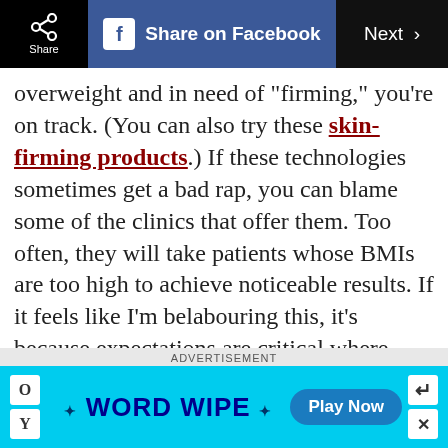Share | Share on Facebook | Next
overweight and in need of “firming,” you’re on track. (You can also try these skin-firming products.) If these technologies sometimes get a bad rap, you can blame some of the clinics that offer them. Too often, they will take patients whose BMIs are too high to achieve noticeable results. If it feels like I’m belabouring this, it’s because expectations are critical where non-surgical body sculpting is concerned.

Body firming and body shaping
[Figure (infographic): WORD WIPE advertisement banner with Play Now button on cyan background with letter tiles]